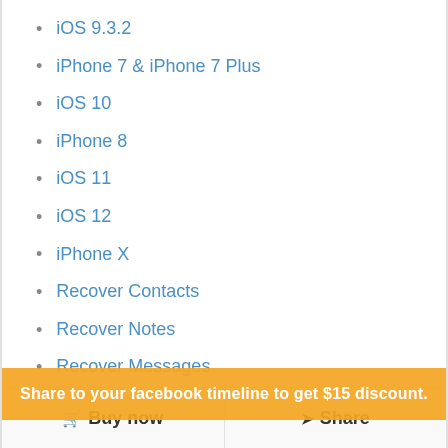iOS 9.3.2
iPhone 7 & iPhone 7 Plus
iOS 10
iPhone 8
iOS 11
iOS 12
iPhone X
Recover Contacts
Recover Notes
Recover Messages
Recover Reminders
Recover Voice Memos
Recover from IDevice
Recover Photo/Videos
Share to your facebook timeline to get $15 discount.
Buy now
Share